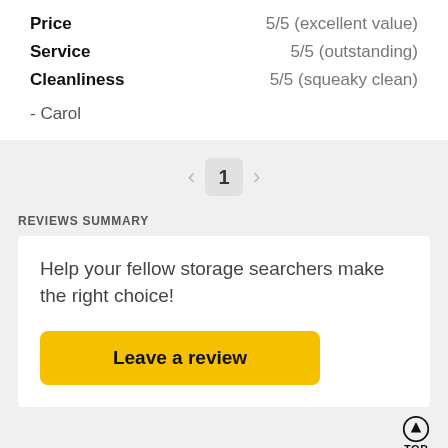Price — 5/5 (excellent value)
Service — 5/5 (outstanding)
Cleanliness — 5/5 (squeaky clean)
- Carol
1 (pagination)
REVIEWS SUMMARY
Help your fellow storage searchers make the right choice!
Leave a review
TOP